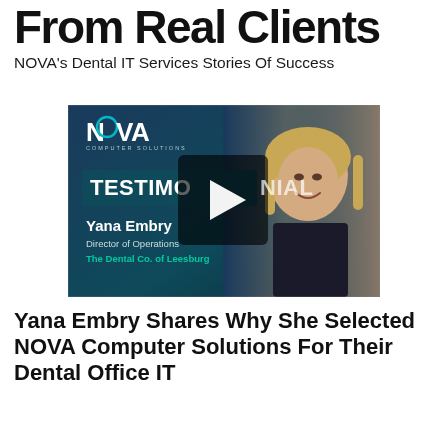From Real Clients
NOVA's Dental IT Services Stories Of Success
[Figure (screenshot): Video thumbnail showing a NOVA Computer Solutions testimonial video featuring Yana Embry, Director of Operations at The Dental Co. of Leesburg. The thumbnail shows a woman with blonde hair smiling, with overlay text reading NOVA Computer Solutions TESTIMONIAL, Yana Embry, Director of Operations, The Dental Co. of Leesburg. A play button is visible in the center.]
Yana Embry Shares Why She Selected NOVA Computer Solutions For Their Dental Office IT